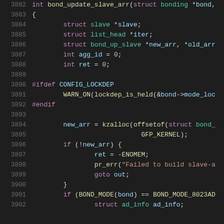[Figure (screenshot): Source code listing of a C function bond_update_slave_arr, lines 3882-3902, displayed in a dark-themed code editor with syntax highlighting.]